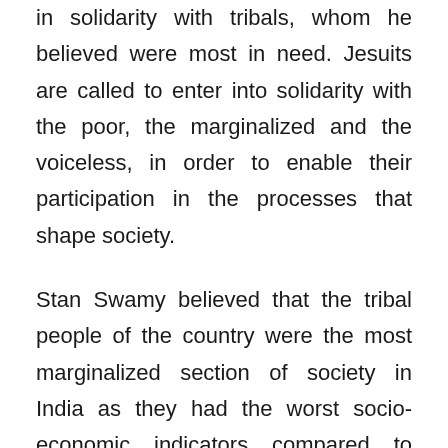in solidarity with tribals, whom he believed were most in need. Jesuits are called to enter into solidarity with the poor, the marginalized and the voiceless, in order to enable their participation in the processes that shape society.
Stan Swamy believed that the tribal people of the country were the most marginalized section of society in India as they had the worst socio-economic indicators compared to other marginalized groups in the country. In spite of the progress made by India over the last seven decades, there has been little progress made in tribal regions of central India due to large scale displacement of tribal people on account of mining and other development projects in the region, which is rich in sub-soil minerals. The tribals have made huge